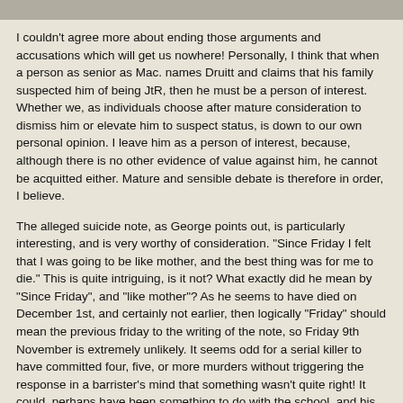I couldn't agree more about ending those arguments and accusations which will get us nowhere! Personally, I think that when a person as senior as Mac. names Druitt and claims that his family suspected him of being JtR, then he must be a person of interest. Whether we, as individuals choose after mature consideration to dismiss him or elevate him to suspect status, is down to our own personal opinion. I leave him as a person of interest, because, although there is no other evidence of value against him, he cannot be acquitted either. Mature and sensible debate is therefore in order, I believe.
The alleged suicide note, as George points out, is particularly interesting, and is very worthy of consideration. "Since Friday I felt that I was going to be like mother, and the best thing was for me to die." This is quite intriguing, is it not? What exactly did he mean by "Since Friday", and "like mother"? As he seems to have died on December 1st, and certainly not earlier, then logically "Friday" should mean the previous friday to the writing of the note, so Friday 9th November is extremely unlikely. It seems odd for a serial killer to have committed four, five, or more murders without triggering the response in a barrister's mind that something wasn't quite right! It could, perhaps have been something to do with the school, and his behaviour there. Then we have "like mother", to consider. Ann Druitt was a chronic depressive, and had paranoid delusions. She was not a serial killer! Possibly "like mother" simply means that he was dismissed from the school after some dramatic exhibition of paranoia. We should be linking "Friday" and "like mother" in our considerations, because that is what the suicide note says. Something happened the previous friday that made him think he was "going to be like mother". It is difficult, if not impossible, to attribute this behaviour to serial killing.